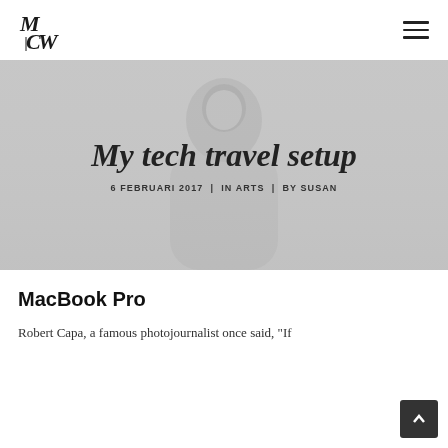MCW logo and navigation hamburger menu
[Figure (photo): Grayscale background photo of a person looking up, with blog post title overlay]
My tech travel setup
6 FEBRUARI 2017  |  IN ARTS  |  BY SUSAN
MacBook Pro
Robert Capa, a famous photojournalist once said, "If